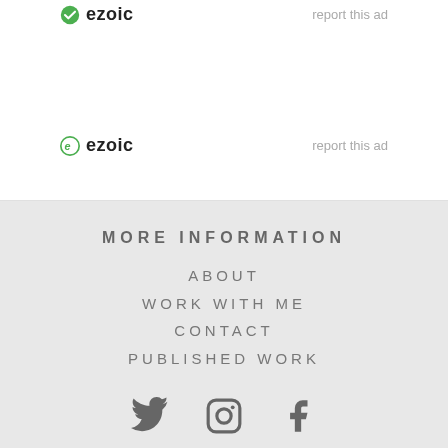[Figure (logo): Ezoic logo with green checkmark icon at top, with 'report this ad' text on the right]
[Figure (logo): Ezoic logo with green circle/e icon in middle section, with 'report this ad' text on the right]
MORE INFORMATION
ABOUT
WORK WITH ME
CONTACT
PUBLISHED WORK
[Figure (illustration): Social media icons: Twitter bird, Instagram camera, Facebook f]